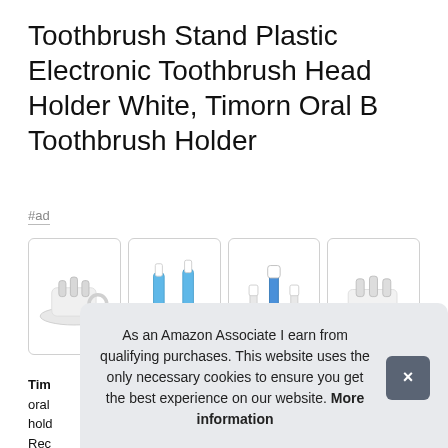Toothbrush Stand Plastic Electronic Toothbrush Head Holder White, Timorn Oral B Toothbrush Holder
#ad
[Figure (photo): Four product images of a white toothbrush holder stand: (1) side view of the white plastic stand, (2) two blue electric toothbrushes standing in the holder with replacement heads, (3) electric toothbrush and two replacement heads in the holder, (4) angled view of the white plastic holder stand]
Tim
oral
hold
Rec
As an Amazon Associate I earn from qualifying purchases. This website uses the only necessary cookies to ensure you get the best experience on our website. More information